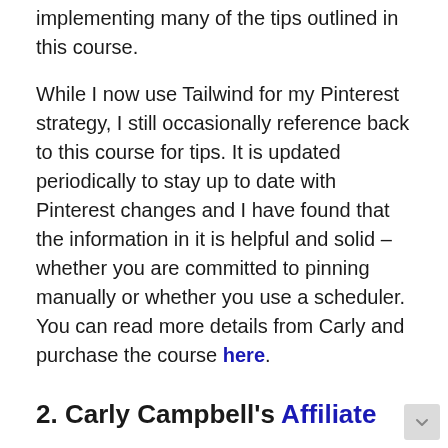implementing many of the tips outlined in this course.
While I now use Tailwind for my Pinterest strategy, I still occasionally reference back to this course for tips. It is updated periodically to stay up to date with Pinterest changes and I have found that the information in it is helpful and solid – whether you are committed to pinning manually or whether you use a scheduler. You can read more details from Carly and purchase the course here.
2. Carly Campbell's Affiliate Marketing Course